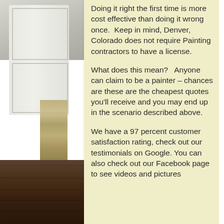[Figure (photo): Interior room photograph showing white painted cabinetry/paneling on the left side with a patterned curtain and dark hardwood floor visible, serving as background image.]
Doing it right the first time is more cost effective than doing it wrong once.  Keep in mind, Denver, Colorado does not require Painting contractors to have a license.
What does this mean?   Anyone can claim to be a painter – chances are these are the cheapest quotes you'll receive and you may end up in the scenario described above.
We have a 97 percent customer satisfaction rating, check out our testimonials on Google. You can also check out our Facebook page to see videos and pictures